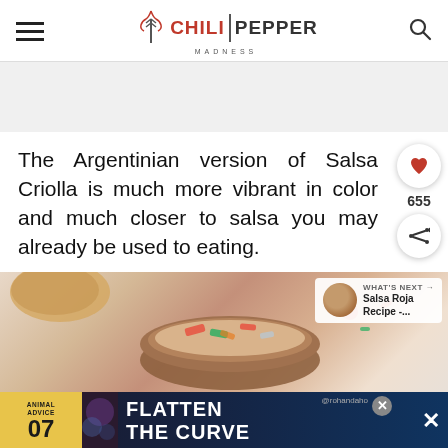CHILI PEPPER MADNESS
The Argentinian version of Salsa Criolla is much more vibrant in color and much closer to salsa you may already be used to eating.
[Figure (photo): Food photo showing a bowl of Salsa Criolla with colorful chopped vegetables, with a 'What's Next: Salsa Roja Recipe -...' sidebar overlay]
[Figure (infographic): Advertisement banner: Animal Advice 07 - Flatten the Curve]